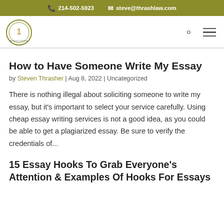📞 214-502-5923   ✉ steve@thrashlaw.com
[Figure (logo): Thrash Law firm circular logo with number 1 and scales of justice emblem]
How to Have Someone Write My Essay
by Steven Thrasher | Aug 8, 2022 | Uncategorized
There is nothing illegal about soliciting someone to write my essay, but it's important to select your service carefully. Using cheap essay writing services is not a good idea, as you could be able to get a plagiarized essay. Be sure to verify the credentials of...
15 Essay Hooks To Grab Everyone's Attention & Examples Of Hooks For Essays